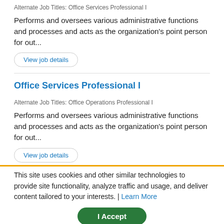Alternate Job Titles: Office Services Professional I
Performs and oversees various administrative functions and processes and acts as the organization's point person for out...
View job details
Office Services Professional I
Alternate Job Titles: Office Operations Professional I
Performs and oversees various administrative functions and processes and acts as the organization's point person for out...
View job details
Accountant Analyst I
This site uses cookies and other similar technologies to provide site functionality, analyze traffic and usage, and deliver content tailored to your interests. | Learn More
I Accept